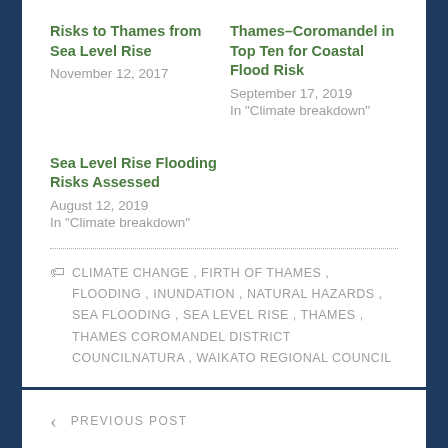Risks to Thames from Sea Level Rise
November 12, 2017
Thames–Coromandel in Top Ten for Coastal Flood Risk
September 17, 2019
In "Climate breakdown"
Sea Level Rise Flooding Risks Assessed
August 12, 2019
In "Climate breakdown"
CLIMATE CHANGE , FIRTH OF THAMES , FLOODING , INUNDATION , NATURAL HAZARDS , SEA FLOODING , SEA LEVEL RISE , THAMES , THAMES COROMANDEL DISTRICT COUNCILNATURA , WAIKATO REGIONAL COUNCIL
PREVIOUS POST